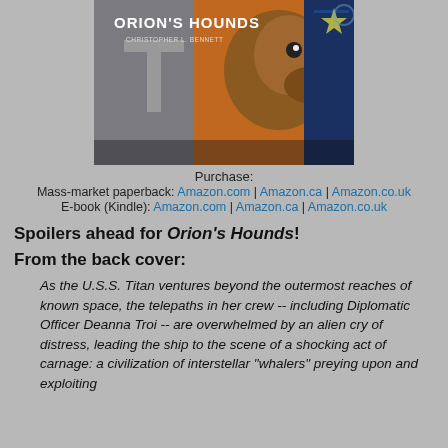[Figure (illustration): Book cover for 'Orion's Hounds' by Christopher L. Bennett, showing a dinosaur-like alien head with title text]
Purchase:
Mass-market paperback: Amazon.com | Amazon.ca | Amazon.co.uk
E-book (Kindle): Amazon.com | Amazon.ca | Amazon.co.uk
Spoilers ahead for Orion's Hounds!
From the back cover:
As the U.S.S. Titan ventures beyond the outermost reaches of known space, the telepaths in her crew -- including Diplomatic Officer Deanna Troi -- are overwhelmed by an alien cry of distress, leading the ship to the scene of a shocking act of carnage: a civilization of interstellar "whalers" preying upon and exploiting